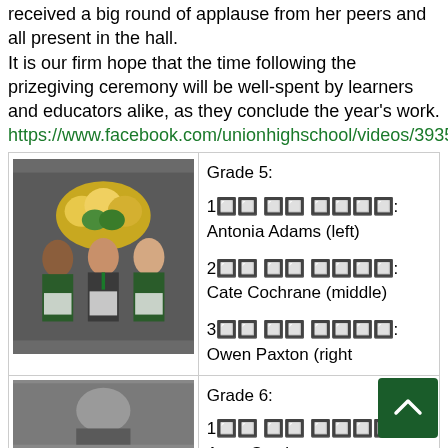received a big round of applause from her peers and all present in the hall.
It is our firm hope that the time following the prizegiving ceremony will be well-spent by learners and educators alike, as they conclude the year's work.
https://www.facebook.com/unionhighschool/videos/393595445730311
| [photo] | Grade 5: |
| --- | --- |
| [photo of three students holding certificates] | 1🔲🔲 🔲🔲 🔲🔲🔲🔲: Antonia Adams (left)
2🔲🔲 🔲🔲 🔲🔲🔲🔲: Cate Cochrane (middle)
3🔲🔲 🔲🔲 🔲🔲🔲🔲: Owen Paxton (right |
| [photo] | Grade 6: |
| --- | --- |
| [photo] | 1🔲🔲 🔲🔲 🔲🔲🔲🔲: Anna Stocks |